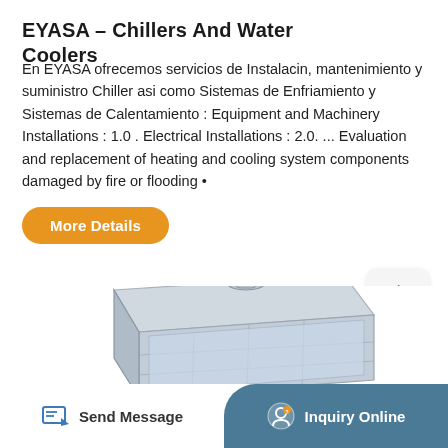EYASA – Chillers And Water Coolers
En EYASA ofrecemos servicios de Instalacin, mantenimiento y suministro Chiller asi como Sistemas de Enfriamiento y Sistemas de Calentamiento : Equipment and Machinery Installations : 1.0 . Electrical Installations : 2.0. ... Evaluation and replacement of heating and cooling system components damaged by fire or flooding •
[Figure (photo): Product image of a chiller or water cooler unit, showing a rectangular silver/grey metallic panel device viewed at an angle from above]
Send Message
Inquiry Online